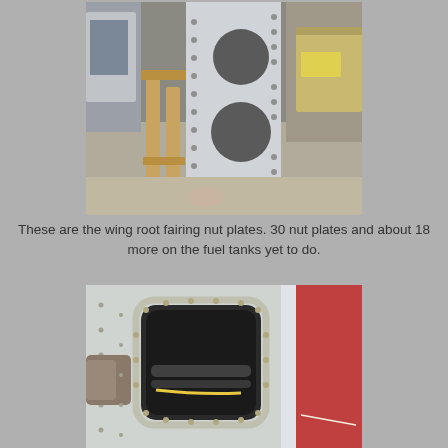[Figure (photo): Aircraft wing root structure propped up vertically on wooden stands in a workshop, showing a metal spar or bulkhead with multiple large circular cutouts and rows of rivets/fasteners along the edges.]
These are the wing root fairing nut plates. 30 nut plates and about 18 more on the fuel tanks yet to do.
[Figure (photo): Interior view of an aircraft fuselage showing a rectangular access panel opening with rounded corners, riveted aluminum skin panels, wiring and tubing visible inside, and a red-painted structure on the right side.]